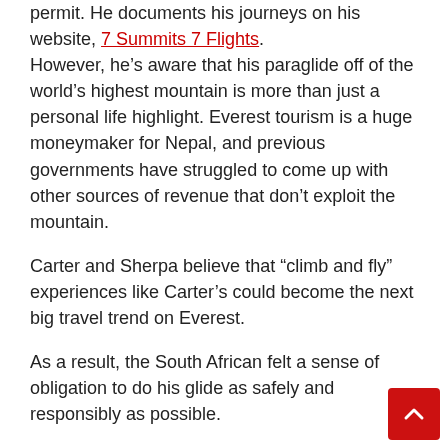permit. He documents his journeys on his website, 7 Summits 7 Flights. However, he’s aware that his paraglide off of the world’s highest mountain is more than just a personal life highlight. Everest tourism is a huge moneymaker for Nepal, and previous governments have struggled to come up with other sources of revenue that don’t exploit the mountain.
Carter and Sherpa believe that “climb and fly” experiences like Carter’s could become the next big travel trend on Everest.
As a result, the South African felt a sense of obligation to do his glide as safely and responsibly as possible.